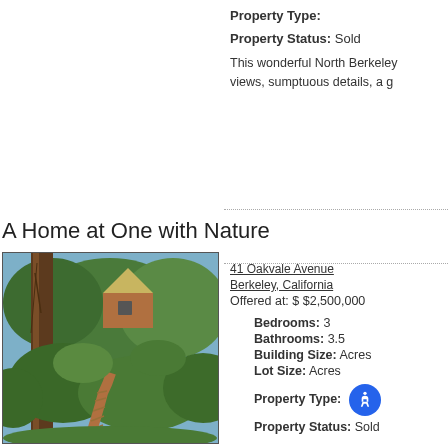Property Type:
Property Status: Sold
This wonderful North Berkeley views, sumptuous details, a g
A Home at One with Nature
[Figure (photo): A lush garden pathway with large trees and dense greenery leading to a brown house with a triangular roofline, photographed from ground level.]
41 Oakvale Avenue
Berkeley, California
Offered at: $ $2,500,000
Bedrooms: 3
Bathrooms: 3.5
Building Size: Acres
Lot Size: Acres
Property Type:
Property Status: Sold